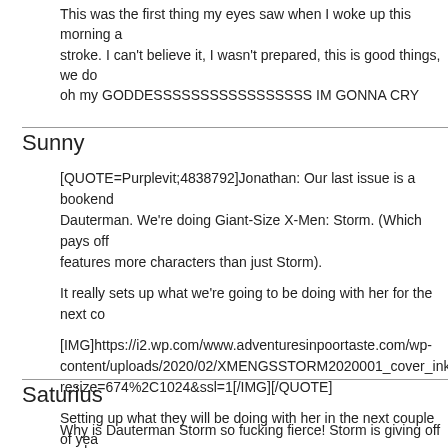This was the first thing my eyes saw when I woke up this morning a stroke. I can't believe it, I wasn't prepared, this is good things, we do oh my GODDESSSSSSSSSSSSSSSSS IM GONNA CRY
Sunny
[QUOTE=Purplevit;4838792]Jonathan: Our last issue is a bookend Dauterman. We're doing Giant-Size X-Men: Storm. (Which pays off features more characters than just Storm).
It really sets up what we're going to be doing with her for the next co
[IMG]https://i2.wp.com/www.adventuresinpoortaste.com/wp-content/uploads/2020/02/XMENGSSTORM2020001_cover_inks.jpg resize=674%2C1024&ssl=1[/IMG][/QUOTE]
Setting up what they will be doing with her in the next couple of yea I'm both excited and terrified at the same time.
Saturius
Why is Dauterman Storm so fucking fierce! Storm is giving off mad